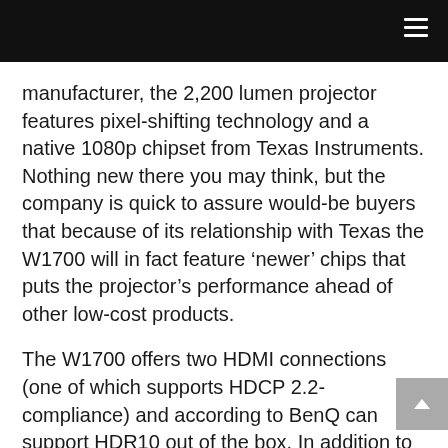manufacturer, the 2,200 lumen projector features pixel-shifting technology and a native 1080p chipset from Texas Instruments. Nothing new there you may think, but the company is quick to assure would-be buyers that because of its relationship with Texas the W1700 will in fact feature ‘newer’ chips that puts the projector’s performance ahead of other low-cost products.
The W1700 offers two HDMI connections (one of which supports HDCP 2.2-compliance) and according to BenQ can support HDR10 out of the box. In addition to these connections is a port